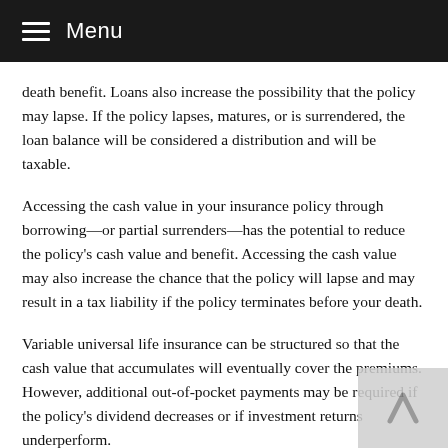Menu
death benefit. Loans also increase the possibility that the policy may lapse. If the policy lapses, matures, or is surrendered, the loan balance will be considered a distribution and will be taxable.
Accessing the cash value in your insurance policy through borrowing—or partial surrenders—has the potential to reduce the policy's cash value and benefit. Accessing the cash value may also increase the chance that the policy will lapse and may result in a tax liability if the policy terminates before your death.
Variable universal life insurance can be structured so that the cash value that accumulates will eventually cover the premiums. However, additional out-of-pocket payments may be required if the policy's dividend decreases or if investment returns underperform.